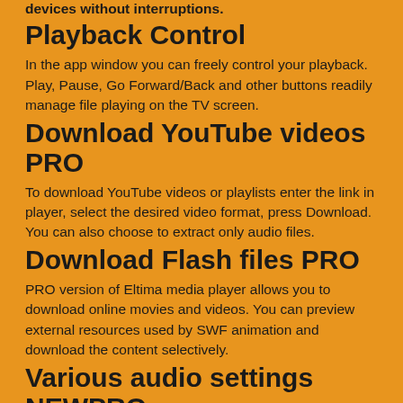devices without interruptions.
Playback Control
In the app window you can freely control your playback. Play, Pause, Go Forward/Back and other buttons readily manage file playing on the TV screen.
Download YouTube videos PRO
To download YouTube videos or playlists enter the link in player, select the desired video format, press Download. You can also choose to extract only audio files.
Download Flash files PRO
PRO version of Eltima media player allows you to download online movies and videos. You can preview external resources used by SWF animation and download the content selectively.
Various audio settings NEWPRO
With virtual surround for headphones you can hear as if the sound is going beyond the headphones, from front to back, side to side. Thanks to virtual speakers for headphones sound becomes similar to that you can hear from loudspeakers, with